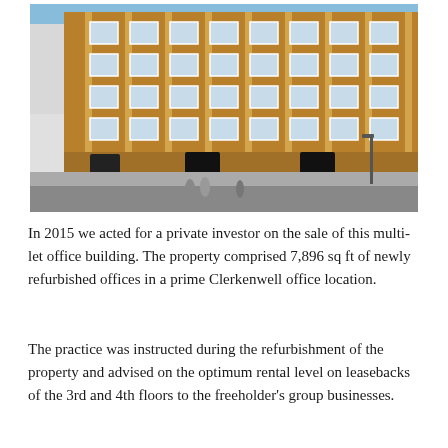[Figure (photo): Exterior photo of a Victorian red-brick multi-storey office building with ornate facade, white-framed windows, and pedestrians on the street below. Blue sky visible above.]
In 2015 we acted for a private investor on the sale of this multi-let office building. The property comprised 7,896 sq ft of newly refurbished offices in a prime Clerkenwell office location.
The practice was instructed during the refurbishment of the property and advised on the optimum rental level on leasebacks of the 3rd and 4th floors to the freeholder's group businesses.